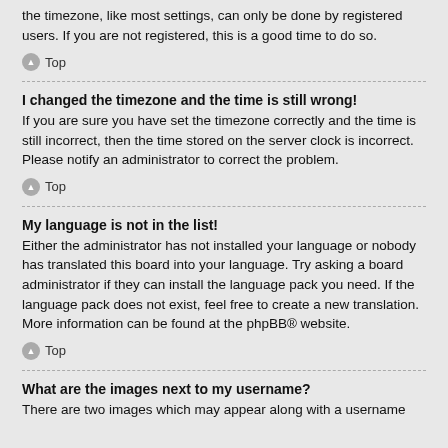the timezone, like most settings, can only be done by registered users. If you are not registered, this is a good time to do so.
Top
I changed the timezone and the time is still wrong!
If you are sure you have set the timezone correctly and the time is still incorrect, then the time stored on the server clock is incorrect. Please notify an administrator to correct the problem.
Top
My language is not in the list!
Either the administrator has not installed your language or nobody has translated this board into your language. Try asking a board administrator if they can install the language pack you need. If the language pack does not exist, feel free to create a new translation. More information can be found at the phpBB® website.
Top
What are the images next to my username?
There are two images which may appear along with a username